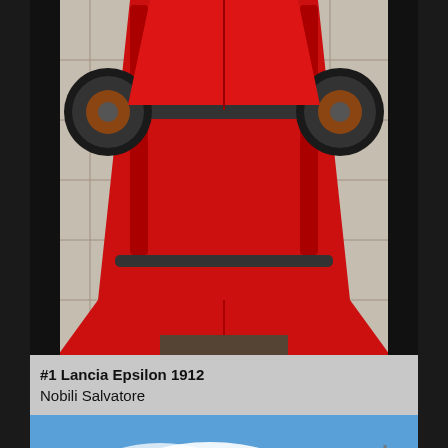[Figure (photo): Close-up overhead view of a vintage red racing car (Lancia Epsilon 1912) from above/front, showing the red chassis, wheels, and undercarriage on a checkered floor]
#1 Lancia Epsilon 1912
Nobili Salvatore
[Figure (photo): Front view of a vintage red FIAT racing car (license plate 7883 MN) parked in front of a historic church with a bell tower, blue sky with clouds, and green trees in background]